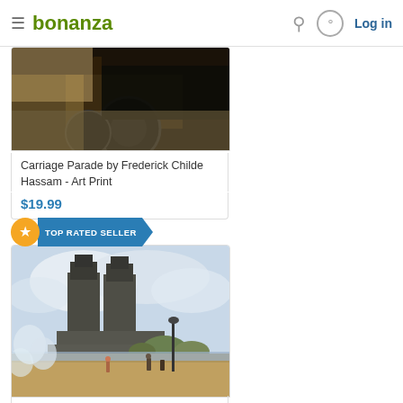bonanza — Log in
[Figure (photo): Partial view of Carriage Parade painting by Frederick Childe Hassam — dark tones with carriage wheel visible]
Carriage Parade by Frederick Childe Hassam - Art Print
$19.99
[Figure (photo): Painting of Cathedral of Notre Dame with people walking along the Seine riverbank, cloudy sky, labeled TOP RATED SELLER]
Cathedral of Notre Dame, 1888 by